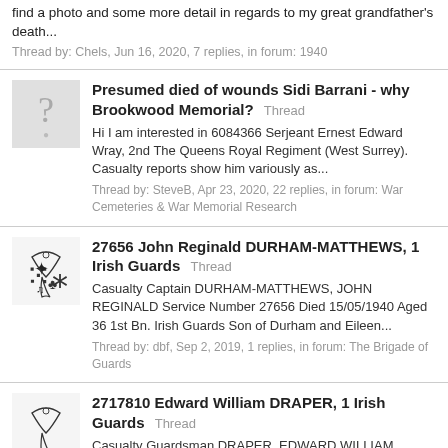find a photo and some more detail in regards to my great grandfather's death...
Thread by: Chels, Jun 16, 2020, 7 replies, in forum: 1940
Presumed died of wounds Sidi Barrani - why Brookwood Memorial?
Hi I am interested in 6084366 Serjeant Ernest Edward Wray, 2nd The Queens Royal Regiment (West Surrey). Casualty reports show him variously as...
Thread by: SteveB, Apr 23, 2020, 22 replies, in forum: War Cemeteries & War Memorial Research
27656 John Reginald DURHAM-MATTHEWS, 1 Irish Guards
Casualty Captain DURHAM-MATTHEWS, JOHN REGINALD Service Number 27656 Died 15/05/1940 Aged 36 1st Bn. Irish Guards Son of Durham and Eileen...
Thread by: dbf, Sep 2, 2019, 1 replies, in forum: The Brigade of Guards
2717810 Edward William DRAPER, 1 Irish Guards
Casualty Guardsman DRAPER, EDWARD WILLIAM Service Number 2717810 Died 15/05/1940 Aged 29 1st Bn. Irish Guards Son of Richard and Sarah Draper, of...
Thread by: dbf, Sep 2, 2019, 0 replies, in forum: The Brigade of